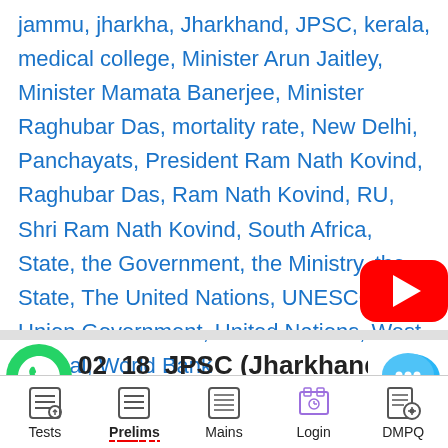jammu, jharkha, Jharkhand, JPSC, kerala, medical college, Minister Arun Jaitley, Minister Mamata Banerjee, Minister Raghubar Das, mortality rate, New Delhi, Panchayats, President Ram Nath Kovind, Raghubar Das, Ram Nath Kovind, RU, Shri Ram Nath Kovind, South Africa, State, the Government, the Ministry, the State, The United Nations, UNESCO, Union Government, United Nations, West Bengal, World Bank
[Figure (logo): YouTube play button red icon]
[Figure (logo): WhatsApp green phone icon]
02_18_JPSC (Jharkhand)
[Figure (logo): Chat bubble icon with ellipsis]
Tests  Prelims  Mains  Login  DMPQ